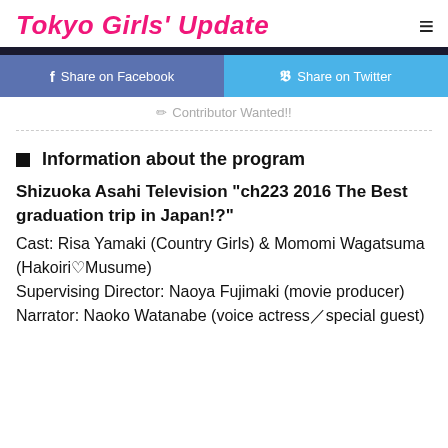Tokyo Girls' Update
[Figure (other): Share on Facebook and Share on Twitter buttons]
✏ Contributor Wanted!!
■ Information about the program
Shizuoka Asahi Television "ch223 2016 The Best graduation trip in Japan!?" Cast: Risa Yamaki (Country Girls) & Momomi Wagatsuma (Hakoiri♡Musume) Supervising Director: Naoya Fujimaki (movie producer) Narrator: Naoko Watanabe (voice actress/special guest)